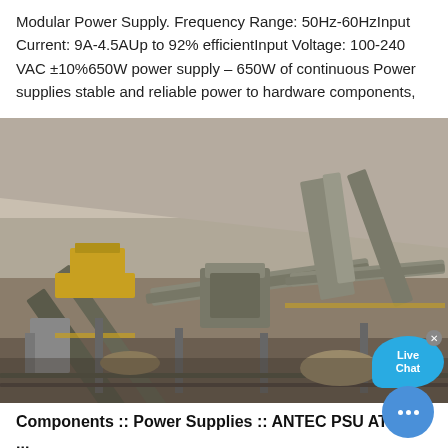Modular Power Supply. Frequency Range: 50Hz-60HzInput Current: 9A-4.5AUp to 92% efficientInput Voltage: 100-240 VAC ±10%650W power supply – 650W of continuous Power supplies stable and reliable power to hardware components,
[Figure (photo): Aerial view of an industrial mining conveyor belt system with heavy yellow machinery and equipment in a quarry or mining operation site]
Components :: Power Supplies :: ANTEC PSU ATOM G ...
Description. The latest generation of the Antec Atom G Gold modular power Supplies offers unparalleled stability a...